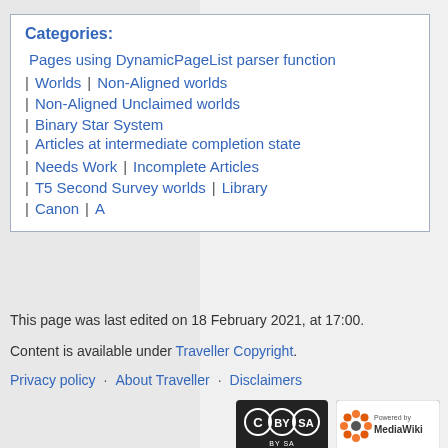Categories:
Pages using DynamicPageList parser function
Worlds | Non-Aligned worlds
Non-Aligned Unclaimed worlds
Binary Star System
Articles at intermediate completion state
Needs Work | Incomplete Articles
T5 Second Survey worlds | Library
Canon | A
This page was last edited on 18 February 2021, at 17:00.
Content is available under Traveller Copyright.
Privacy policy · About Traveller · Disclaimers
[Figure (logo): Creative Commons BY-SA license badge]
[Figure (logo): Powered by MediaWiki badge]